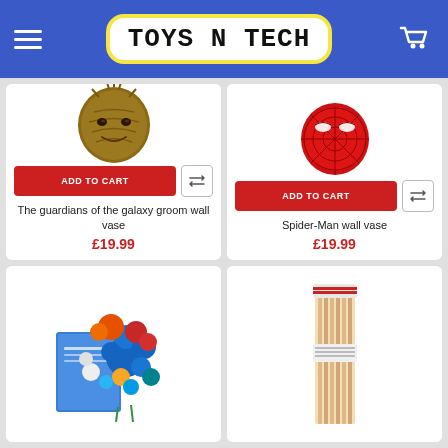TOYS N TECH
[Figure (photo): Guardians of the Galaxy Groot wall vase product image]
ADD TO CART
The guardians of the galaxy groom wall vase
£19.99
[Figure (photo): Spider-Man red wall vase product image]
ADD TO CART
Spider-Man wall vase
£19.99
[Figure (photo): Colorful paper flower kit box product image]
[Figure (photo): Package of wooden dowel sticks product image]